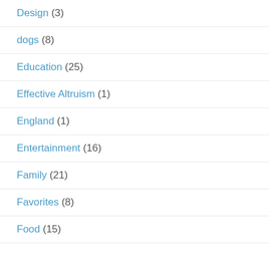Design (3)
dogs (8)
Education (25)
Effective Altruism (1)
England (1)
Entertainment (16)
Family (21)
Favorites (8)
Food (15)